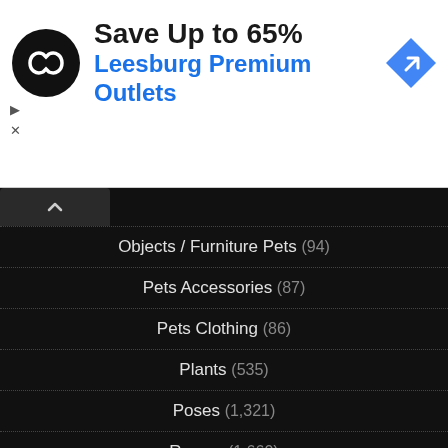[Figure (screenshot): Advertisement banner: black circular logo with infinity/loop symbol, headline 'Save Up to 65%', subline 'Leesburg Premium Outlets', blue navigation arrow icon on right, play/close controls on left]
Objects / Furniture Pets (94)
Pets Accessories (87)
Pets Clothing (86)
Plants (535)
Poses (1,321)
Rooms (1,660)
Shoes (3,159)
Shoes for females (2,932)
Shoes for males (421)
Sim Models (...)